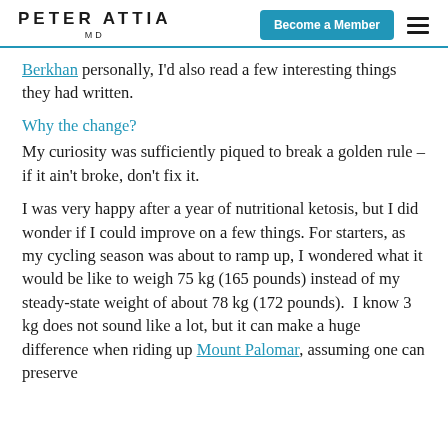PETER ATTIA MD | Become a Member
Berkhan personally, I'd also read a few interesting things they had written.
Why the change?
My curiosity was sufficiently piqued to break a golden rule – if it ain't broke, don't fix it.
I was very happy after a year of nutritional ketosis, but I did wonder if I could improve on a few things. For starters, as my cycling season was about to ramp up, I wondered what it would be like to weigh 75 kg (165 pounds) instead of my steady-state weight of about 78 kg (172 pounds).  I know 3 kg does not sound like a lot, but it can make a huge difference when riding up Mount Palomar, assuming one can preserve